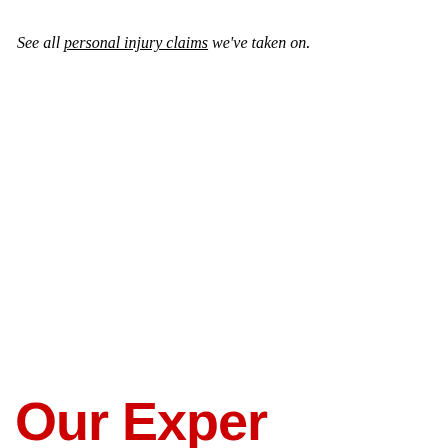See all personal injury claims we've taken on.
Our Expe...